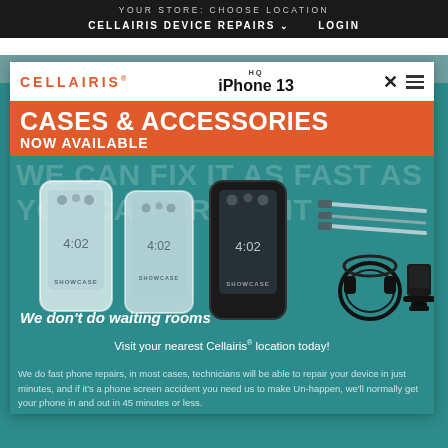YOUR STORE: CHOOSE LOCATION
CELLAIRIS DEVICE REPAIRS  LOGIN
[Figure (screenshot): Cellairis website popup modal showing iPhone 13 Cases & Accessories Now Available, with phone case product images and headphones/charging stand accessories on teal background. Text reads: We don't do waiting rooms. We do fast phone repairs, in most cases, technicians will be able to repair your device in just minutes, and if it's a phone screen accident you need us to make Un-happen, we'll normally get your phone in and out in 45 minutes or less. Visit your nearest Cellairis location today!]
CASES & ACCESSORIES
NOW AVAILABLE
WE CAN FIX IT AS FAST AS YOU CAN BREAK IT
We don't do waiting rooms
We do fast phone repairs, in most cases, technicians will be able to repair your device in just minutes, and if it's a phone screen accident you need us to make Un-happen, we'll normally get your phone in and out in 45 minutes or less.
Visit your nearest Cellairis® location today!